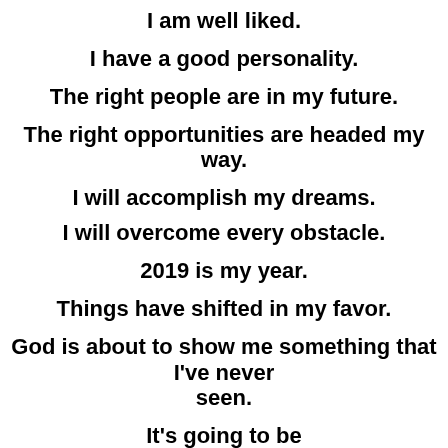I am well liked.
I have a good personality.
The right people are in my future.
The right opportunities are headed my way.
I will accomplish my dreams.
I will overcome every obstacle.
2019 is my year.
Things have shifted in my favor.
God is about to show me something that I've never seen.
It's going to be